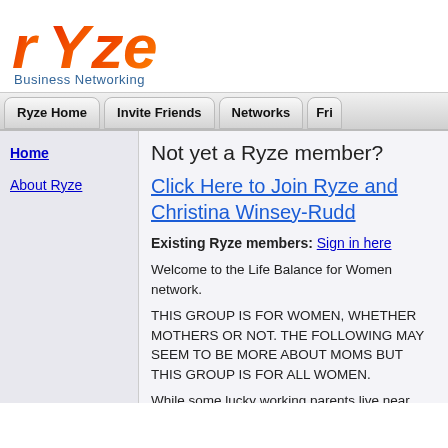[Figure (logo): Ryze Business Networking logo with red/orange gradient text and 'Business Networking' subtitle]
Ryze Home | Invite Friends | Networks | Fri...
Home
About Ryze
Not yet a Ryze member?
Click Here to Join Ryze and Christina Winsey-Rudd
Existing Ryze members: Sign in here
Welcome to the Life Balance for Women network.
THIS GROUP IS FOR WOMEN, WHETHER MOTHERS OR NOT. THE FOLLOWING MAY SEEM TO BE MORE ABOUT MOMS BUT THIS GROUP IS FOR ALL WOMEN.
While some lucky working parents live near their mothers or other extended family, which readily take on some childcare responsibilities for them, most have lost that support. Many have a complicated, blended family and extended families live thousands of miles away. The security of the tribe or clan -- of "folk